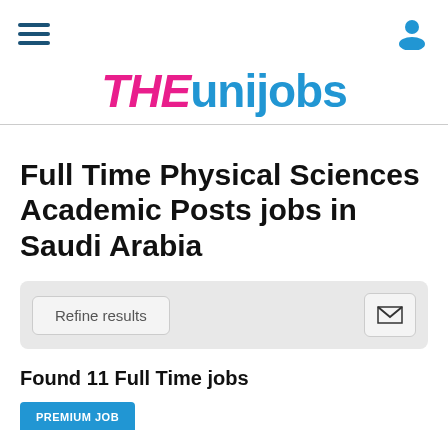THEunijobs — navigation header with hamburger menu and user icon
[Figure (logo): THEunijobs logo with THE in pink/magenta italic bold and unijobs in blue bold]
Full Time Physical Sciences Academic Posts jobs in Saudi Arabia
Refine results (button) and mail alert icon button
Found 11 Full Time jobs
PREMIUM JOB